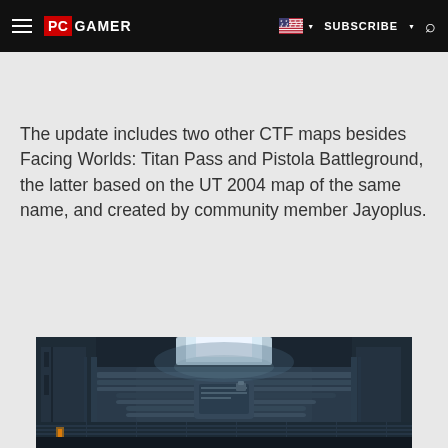PC GAMER  |  SUBSCRIBE  |  Search
The update includes two other CTF maps besides Facing Worlds: Titan Pass and Pistola Battleground, the latter based on the UT 2004 map of the same name, and created by community member Jayoplus.
[Figure (screenshot): In-game screenshot of a dark industrial/sci-fi interior corridor with cables, machinery and a bright light source from above, appearing to be from Unreal Tournament.]